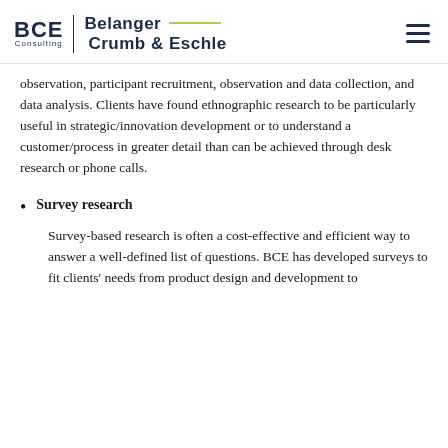BCE Consulting | Belanger Crumb & Eschle
observation, participant recruitment, observation and data collection, and data analysis. Clients have found ethnographic research to be particularly useful in strategic/innovation development or to understand a customer/process in greater detail than can be achieved through desk research or phone calls.
Survey research
Survey-based research is often a cost-effective and efficient way to answer a well-defined list of questions. BCE has developed surveys to fit clients' needs from product design and development to